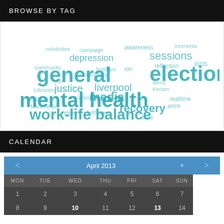BROWSE BY TAG
[Figure (infographic): Tag cloud with teal/cyan colored words of various sizes including: general election (large), mental health (large), work-life balance (large), depression (medium), media (medium), recovery (medium), justice (medium), liverpool (medium), and many smaller tags]
CALENDAR
| MON | TUE | WED | THU | FRI | SAT | SUN |
| --- | --- | --- | --- | --- | --- | --- |
| 1 | 2 | 3 | 4 | 5 | 6 | 7 |
| 8 | 9 | 10 | 11 | 12 | 13 | 14 |